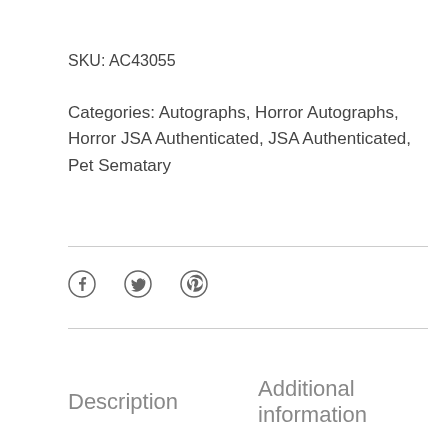SKU: AC43055
Categories: Autographs, Horror Autographs, Horror JSA Authenticated, JSA Authenticated, Pet Sematary
[Figure (other): Social sharing icons: Facebook, Twitter, Pinterest]
Description
Additional information